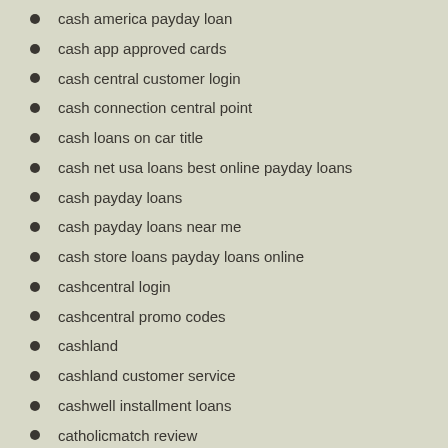cash america payday loan
cash app approved cards
cash central customer login
cash connection central point
cash loans on car title
cash net usa loans best online payday loans
cash payday loans
cash payday loans near me
cash store loans payday loans online
cashcentral login
cashcentral promo codes
cashland
cashland customer service
cashwell installment loans
catholicmatch review